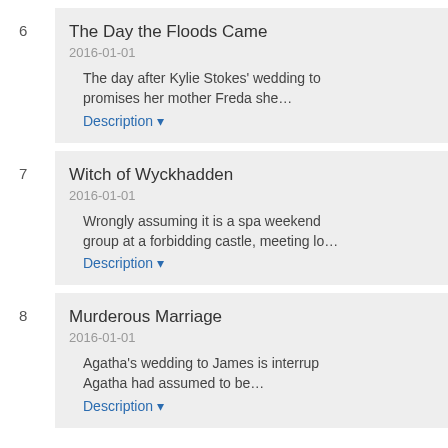6 The Day the Floods Came
2016-01-01
The day after Kylie Stokes' wedding to promises her mother Freda she…
Description ▾
7 Witch of Wyckhadden
2016-01-01
Wrongly assuming it is a spa weekend group at a forbidding castle, meeting lo…
Description ▾
8 Murderous Marriage
2016-01-01
Agatha's wedding to James is interrup Agatha had assumed to be…
Description ▾